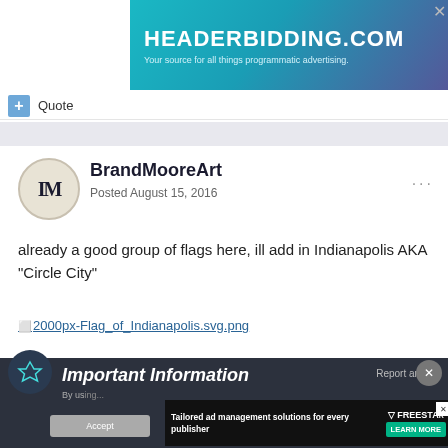[Figure (screenshot): HeaderBidding.com banner advertisement with teal-purple gradient background]
Quote
[Figure (screenshot): Gray separator bar]
BrandMooreArt
Posted August 15, 2016
already a good group of flags here, ill add in Indianapolis AKA "Circle City"
2000px-Flag_of_Indianapolis.svg.png
Important Information
By using...
[Figure (screenshot): Freestar tailored ad management solutions advertisement]